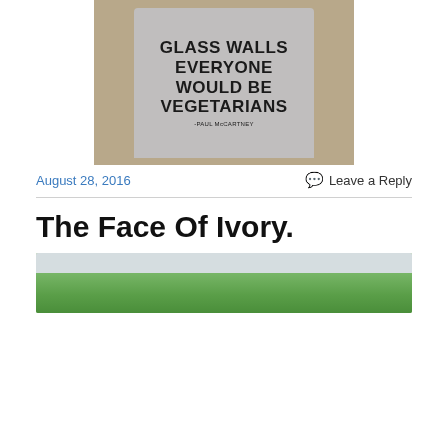[Figure (photo): Photo of a grey t-shirt laid flat on a brown/tan background. The shirt displays text in bold uppercase letters: 'GLASS WALLS EVERYONE WOULD BE VEGETARIANS -PAUL McCARTNEY']
August 28, 2016
Leave a Reply
The Face Of Ivory.
[Figure (photo): Partial photo showing green trees and foliage against a light sky, landscape scene.]